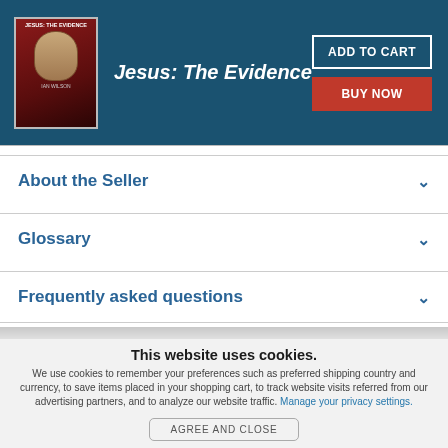Jesus: The Evidence
About the Seller
Glossary
Frequently asked questions
This website uses cookies.
We use cookies to remember your preferences such as preferred shipping country and currency, to save items placed in your shopping cart, to track website visits referred from our advertising partners, and to analyze our website traffic. Manage your privacy settings.
AGREE AND CLOSE